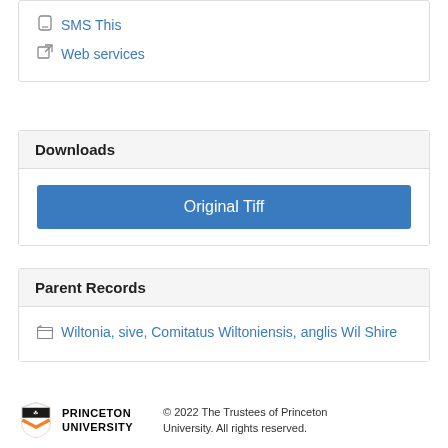📱 SMS This
↗ Web services
Downloads
Original Tiff
Parent Records
Wiltonia, sive, Comitatus Wiltoniensis, anglis Wil Shire
PRINCETON UNIVERSITY © 2022 The Trustees of Princeton University. All rights reserved.